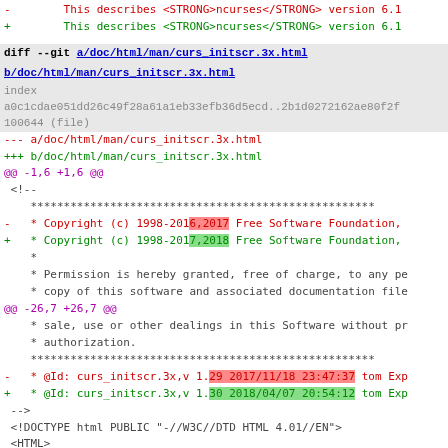-        This describes <STRONG>ncurses</STRONG> version 6.1
+        This describes <STRONG>ncurses</STRONG> version 6.1
diff --git a/doc/html/man/curs_initscr.3x.html b/doc/html/man/curs_initscr.3x.html
index a0c1cdae051dd26c49f28a61a1eb33efb36d5ecd..2b1d0272162ae80f2f 100644 (file)
--- a/doc/html/man/curs_initscr.3x.html
+++ b/doc/html/man/curs_initscr.3x.html
@@ -1,6 +1,6 @@
<!--
****...
-   * Copyright (c) 1998-2016,2017 Free Software Foundation,
+   * Copyright (c) 1998-2017,2018 Free Software Foundation,
*
* Permission is hereby granted, free of charge, to any pe
* copy of this software and associated documentation file
@@ -26,7 +26,7 @@
* sale, use or other dealings in this Software without pr
* authorization.
****...
-   * @Id: curs_initscr.3x,v 1.29 2017/11/18 23:47:37 tom Exp
+   * @Id: curs_initscr.3x,v 1.30 2018/04/07 20:54:12 tom Exp
-->
<!DOCTYPE html PUBLIC "-//W3C//DTD HTML 4.01//EN">
<HTML>
@@ -56,7 +56,7 @@